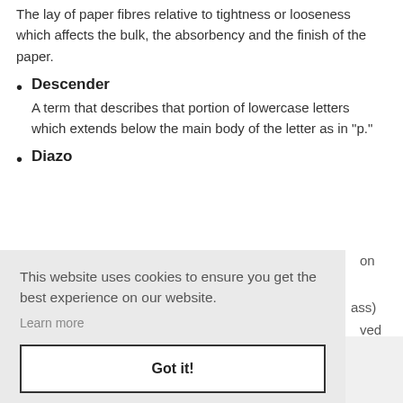The lay of paper fibres relative to tightness or looseness which affects the bulk, the absorbency and the finish of the paper.
Descender — A term that describes that portion of lowercase letters which extends below the main body of the letter as in "p."
Diazo
This website uses cookies to ensure you get the best experience on our website.
Learn more
Got it!
Die Cutting